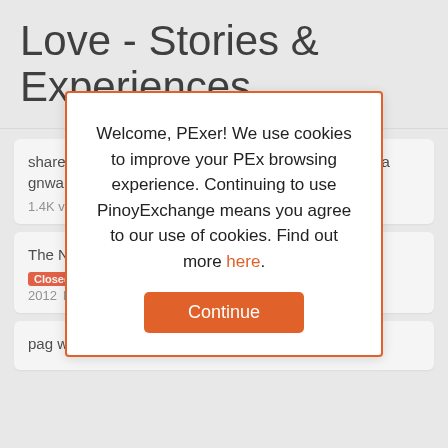Love - Stories & Experiences
share nmn kayo ng di nyo malimutang sweet things na gnwa ng gf/bf/ex nyo
1.4K views · April 2012 · by ngkhung
The Next LO...
Closed · 4.2K · by · ModeratorSu... · 2012 · LOVE -
pag walang... al ka pa rin ba niya??
Welcome, PExer! We use cookies to improve your PEx browsing experience. Continuing to use PinoyExchange means you agree to our use of cookies. Find out more here.
Continue